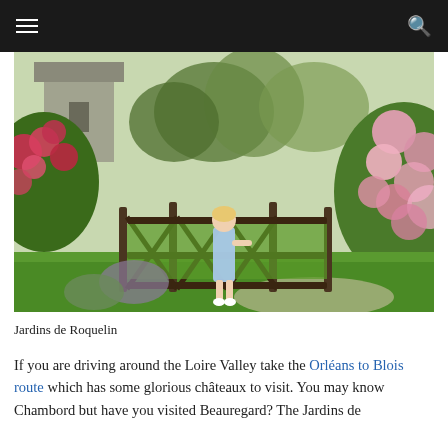☰  🔍
[Figure (photo): A lush garden scene with a young girl in a light blue dress standing at a wooden gate, surrounded by abundant flowering bushes including pink roses on the right and red/pink climbing flowers on the left, with green lawn and trees in the background.]
Jardins de Roquelin
If you are driving around the Loire Valley take the Orléans to Blois route which has some glorious châteaux to visit. You may know Chambord but have you visited Beauregard? The Jardins de